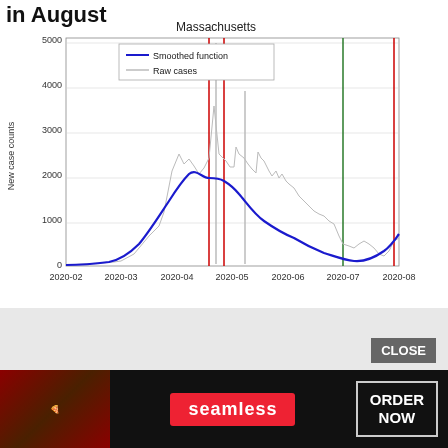in August
[Figure (line-chart): Line chart showing Massachusetts COVID-19 new case counts from 2020-02 to 2020-08, with smoothed function (blue) and raw cases (gray). Vertical red lines around 2020-04-mid and 2020-08, green vertical line around 2020-07.]
[Figure (photo): Advertisement banner: Seamless food delivery - ORDER NOW, showing pizza image]